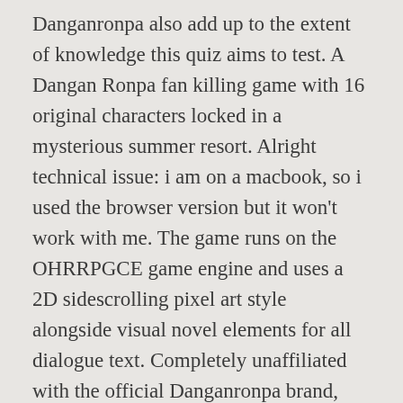Danganronpa also add up to the extent of knowledge this quiz aims to test. A Dangan Ronpa fan killing game with 16 original characters locked in a mysterious summer resort. Alright technical issue: i am on a macbook, so i used the browser version but it won't work with me. The game runs on the OHRRPGCE game engine and uses a 2D sidescrolling pixel art style alongside visual novel elements for all dialogue text. Completely unaffiliated with the official Danganronpa brand, games, or Spike Chunsoft. Her favorite games include Dragon Age, Pokémon, Final Fantasy XIV, Team Ico games, Ōkami, and RPG maker horror games.